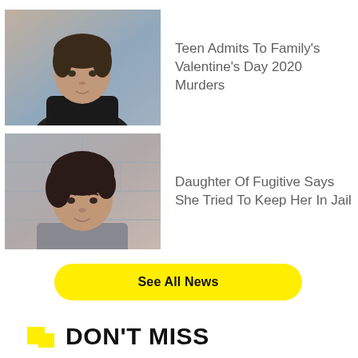[Figure (photo): Portrait photo of a teenage boy in a black hoodie against a blurred blue background]
Teen Admits To Family's Valentine's Day 2020 Murders
[Figure (photo): Mugshot-style photo of a middle-aged woman with dark hair against a gray block wall, wearing a gray top]
Daughter Of Fugitive Says She Tried To Keep Her In Jail
See All News
DON'T MISS